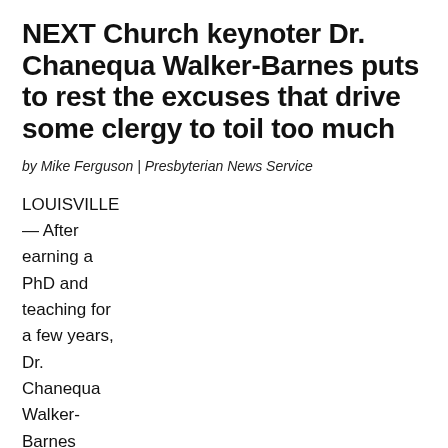NEXT Church keynoter Dr. Chanequa Walker-Barnes puts to rest the excuses that drive some clergy to toil too much
by Mike Ferguson | Presbyterian News Service
LOUISVILLE — After earning a PhD and teaching for a few years, Dr. Chanequa Walker-Barnes decided to enroll in seminary